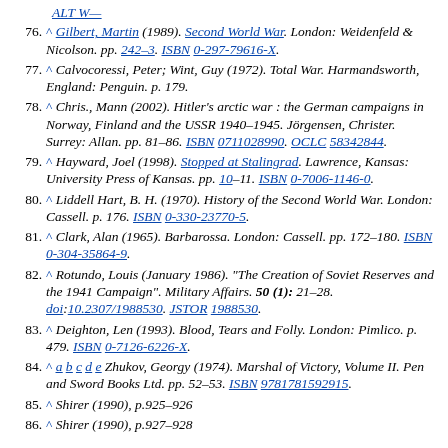76. ^ Gilbert, Martin (1989). Second World War. London: Weidenfeld & Nicolson. pp. 242–3. ISBN 0-297-79616-X.
77. ^ Calvocoressi, Peter; Wint, Guy (1972). Total War. Harmandsworth, England: Penguin. p. 179.
78. ^ Chris., Mann (2002). Hitler's arctic war : the German campaigns in Norway, Finland and the USSR 1940–1945. Jörgensen, Christer. Surrey: Allan. pp. 81–86. ISBN 0711028990. OCLC 58342844.
79. ^ Hayward, Joel (1998). Stopped at Stalingrad. Lawrence, Kansas: University Press of Kansas. pp. 10–11. ISBN 0-7006-1146-0.
80. ^ Liddell Hart, B. H. (1970). History of the Second World War. London: Cassell. p. 176. ISBN 0-330-23770-5.
81. ^ Clark, Alan (1965). Barbarossa. London: Cassell. pp. 172–180. ISBN 0-304-35864-9.
82. ^ Rotundo, Louis (January 1986). "The Creation of Soviet Reserves and the 1941 Campaign". Military Affairs. 50 (1): 21–28. doi:10.2307/1988530. JSTOR 1988530.
83. ^ Deighton, Len (1993). Blood, Tears and Folly. London: Pimlico. p. 479. ISBN 0-7126-6226-X.
84. ^ a b c d e Zhukov, Georgy (1974). Marshal of Victory, Volume II. Pen and Sword Books Ltd. pp. 52–53. ISBN 9781781592915.
85. ^ Shirer (1990), p.925–926
86. ^ Shirer (1990), p.927–928